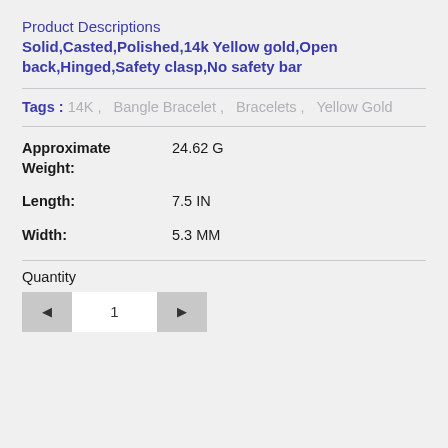Product Descriptions
Solid,Casted,Polished,14k Yellow gold,Open back,Hinged,Safety clasp,No safety bar
Tags : 14K ,  Bangle Bracelet ,  Bracelets ,  Yellow Gold
Approximate Weight: 24.62 G
Length: 7.5 IN
Width: 5.3 MM
Quantity
1